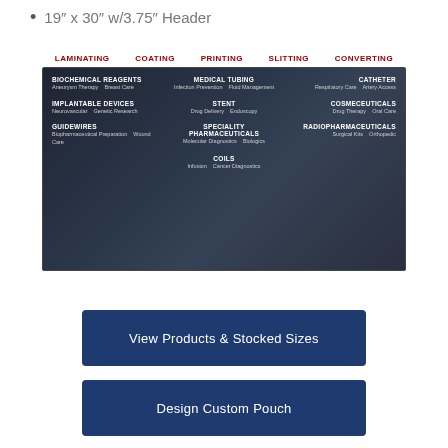19" x 30" w/3.75" Header
[Figure (infographic): Medical packaging infographic showing services (LAMINATING, COATING, PRINTING, SLITTING, CONVERTING) above a dark panel with categories: BIOCHEMICAL REAGENTS (Aneurysm Therapy, Breast Care), MEDICAL TUBING (Infection Prevention, Fluid Management), CATHETER (Respiratory Care, Artery Access), IMPLANTABLE DEVICES (Neurovascular, Genetic Research), STENT (Drug Delivery, Endoscopy), COSMECEUTICALS (Drug Therapy, Oral Care), GUIDEWIRES (Biopharmaceutical Preparation, Wound Care), SPECIALITY PHARMACEUTICALS (Molecular Diagnostics, Biologics), RADIOPHARMACEUTICALS (Surgical Kits, Orthopedic), COILS (Infusion, Cancer Diagnostics)]
View Products & Stocked Sizes
Design Custom Pouch